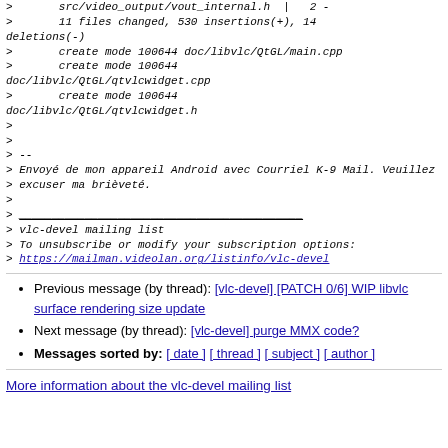>       src/video_output/vout_internal.h  |   2 -
> 11 files changed, 530 insertions(+), 14 deletions(-)
>       create mode 100644 doc/libvlc/QtGL/main.cpp
>       create mode 100644 doc/libvlc/QtGL/qtvlcwidget.cpp
>       create mode 100644 doc/libvlc/QtGL/qtvlcwidget.h
>
>
> --
> Envoyé de mon appareil Android avec Courriel K-9 Mail. Veuillez
> excuser ma brièveté.
>
> ___________________________________________
> vlc-devel mailing list
> To unsubscribe or modify your subscription options:
> https://mailman.videolan.org/listinfo/vlc-devel
Previous message (by thread): [vlc-devel] [PATCH 0/6] WIP libvlc surface rendering size update
Next message (by thread): [vlc-devel] purge MMX code?
Messages sorted by: [ date ] [ thread ] [ subject ] [ author ]
More information about the vlc-devel mailing list